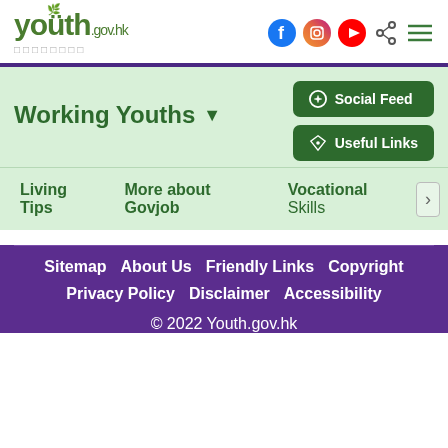youth.gov.hk — Working Youths section header with social icons
Working Youths
Social Feed | Useful Links
Living Tips | More about Govjob | Vocational Skills
Sitemap About Us Friendly Links Copyright Privacy Policy Disclaimer Accessibility © 2022 Youth.gov.hk